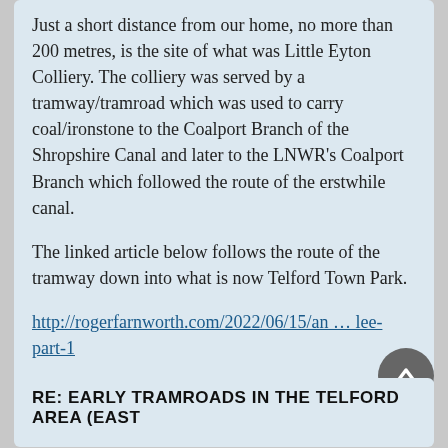Just a short distance from our home, no more than 200 metres, is the site of what was Little Eyton Colliery. The colliery was served by a tramway/tramroad which was used to carry coal/ironstone to the Coalport Branch of the Shropshire Canal and later to the LNWR's Coalport Branch which followed the route of the erstwhile canal.
The linked article below follows the route of the tramway down into what is now Telford Town Park.
http://rogerfarnworth.com/2022/06/15/an ... lee-part-1
The featured image shows typical trams and pit head gear at Blists Hill Victorian Museum.
RE: EARLY TRAMROADS IN THE TELFORD AREA (EAST